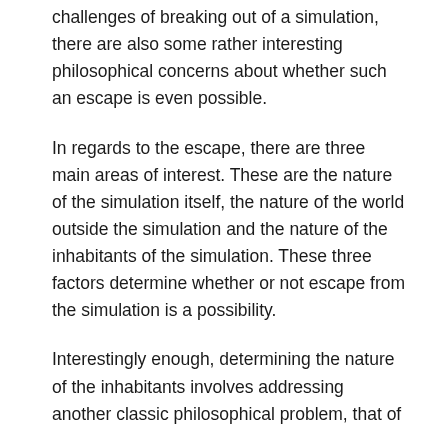challenges of breaking out of a simulation, there are also some rather interesting philosophical concerns about whether such an escape is even possible.
In regards to the escape, there are three main areas of interest. These are the nature of the simulation itself, the nature of the world outside the simulation and the nature of the inhabitants of the simulation. These three factors determine whether or not escape from the simulation is a possibility.
Interestingly enough, determining the nature of the inhabitants involves addressing another classic philosophical problem, that of